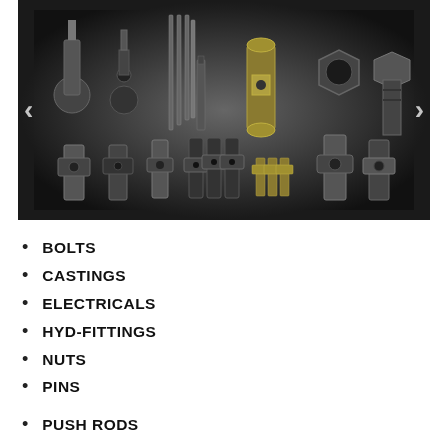[Figure (photo): Photo of various automotive/industrial fasteners and hardware parts including bolts, nuts, pins, push rods, and hydraulic fittings arranged on a dark background with navigation arrows on left and right sides.]
BOLTS
CASTINGS
ELECTRICALS
HYD-FITTINGS
NUTS
PINS
PUSH RODS
RACING PARTS
U-BOLTS